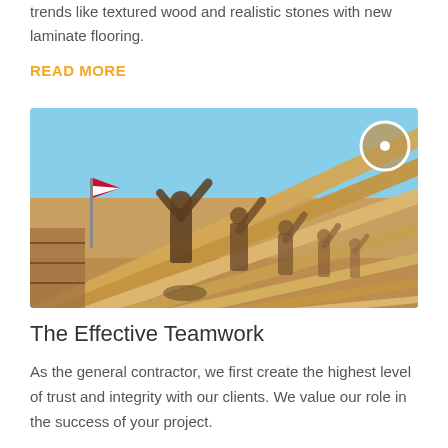trends like textured wood and realistic stones with new laminate flooring.
READ MORE
[Figure (photo): Workers lifting wooden roof rafters/trusses on a construction site under a blue sky. Multiple workers in uniform raising the timber frame together.]
The Effective Teamwork
As the general contractor, we first create the highest level of trust and integrity with our clients. We value our role in the success of your project.